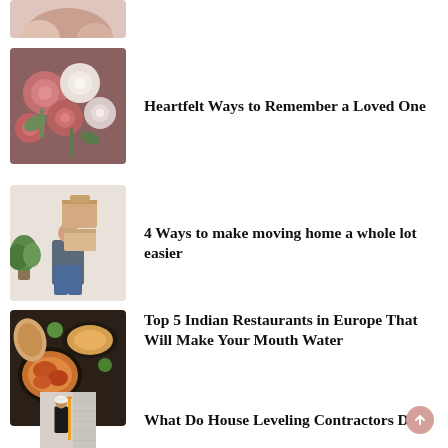[Figure (photo): Partial thumbnail image at top, cropped — appears to be hands or a person]
[Figure (photo): Thumbnail of pink and white flowers, roses and carnations]
Heartfelt Ways to Remember a Loved One
[Figure (photo): Thumbnail of a person holding moving boxes with a plant in background]
4 Ways to make moving home a whole lot easier
[Figure (photo): Thumbnail of Indian food dishes on a dark background]
Top 5 Indian Restaurants in Europe That Will Make Your Mouth Water
[Figure (photo): Thumbnail of a man in a hard hat working on a wall with a measuring tool]
What Do House Leveling Contractors Do?